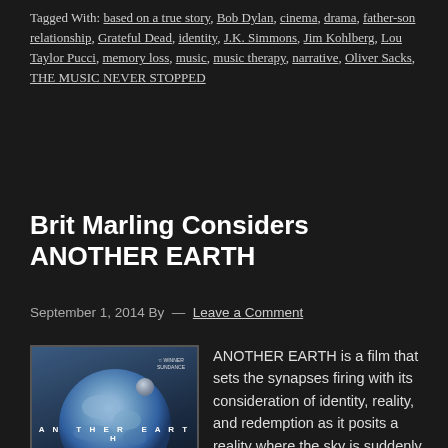Tagged With: based on a true story, Bob Dylan, cinema, drama, father-son relationship, Grateful Dead, identity, J.K. Simmons, Jim Kohlberg, Lou Taylor Pucci, memory loss, music, music therapy, narrative, Oliver Sacks, THE MUSIC NEVER STOPPED
Brit Marling Considers ANOTHER EARTH
September 1, 2014 By — Leave a Comment
[Figure (photo): Movie poster for ANOTHER EARTH showing a young woman with long blonde hair in front of a large Earth-like planet in the sky, with the film title overlaid]
ANOTHER EARTH is a film that sets the synapses firing with its consideration of identity, reality, and redemption as it posits a reality where the sky is suddenly filled with a duplicate of our home planet. When I spoke with co-writer